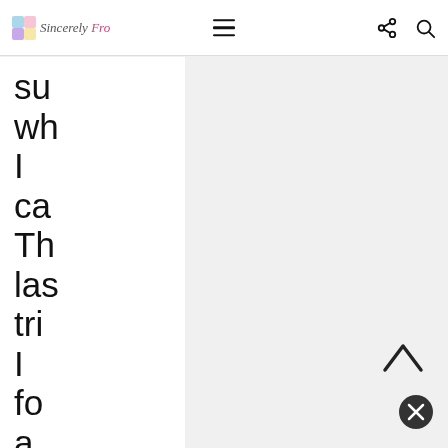[Figure (screenshot): Website navigation bar with logo 'Sincerely Fro', hamburger menu icon, share icon, and search icon]
su
wh
I
ca
Th
las
trip
I
fo
a
pla
tha
se
sw
po
su